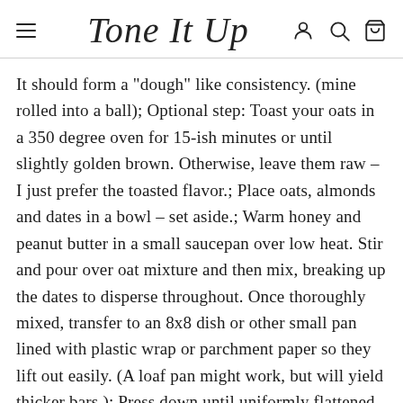Tone It Up
It should form a "dough" like consistency. (mine rolled into a ball); Optional step: Toast your oats in a 350 degree oven for 15-ish minutes or until slightly golden brown. Otherwise, leave them raw – I just prefer the toasted flavor.; Place oats, almonds and dates in a bowl – set aside.; Warm honey and peanut butter in a small saucepan over low heat. Stir and pour over oat mixture and then mix, breaking up the dates to disperse throughout. Once thoroughly mixed, transfer to an 8x8 dish or other small pan lined with plastic wrap or parchment paper so they lift out easily. (A loaf pan might work, but will yield thicker bars.); Press down until uniformly flattened. Cover with parchment or